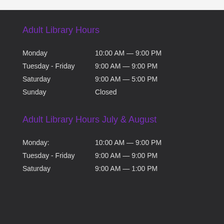Adult Library Hours
Monday   10:00 AM — 9:00 PM
Tuesday - Friday   9:00 AM — 9:00 PM
Saturday   9:00 AM — 5:00 PM
Sunday   Closed
Adult Library Hours July & August
Monday:   10:00 AM — 9:00 PM
Tuesday - Friday   9:00 AM — 9:00 PM
Saturday   9:00 AM — 1:00 PM